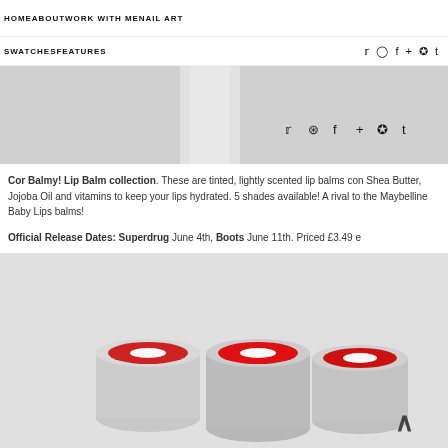HOME   ABOUT   WORK WITH ME   NAIL ART
SWATCHES   FEATURES
[Figure (photo): Close-up photo of a lip balm product in clear packaging against a light grey background, with social media icons (Twitter, Instagram, Facebook, Google+, Pinterest, Tumblr) overlaid]
Cor Balmy! Lip Balm collection. These are tinted, lightly scented lip balms containing Shea Butter, Jojoba Oil and vitamins to keep your lips hydrated. 5 shades available! A rival to the Maybelline Baby Lips balms!
Official Release Dates: Superdrug June 4th, Boots June 11th. Priced £3.49 e
[Figure (photo): Photo of three circular lip balm containers in clear cylindrical cups, with red and white designs, arranged on a light grey surface]